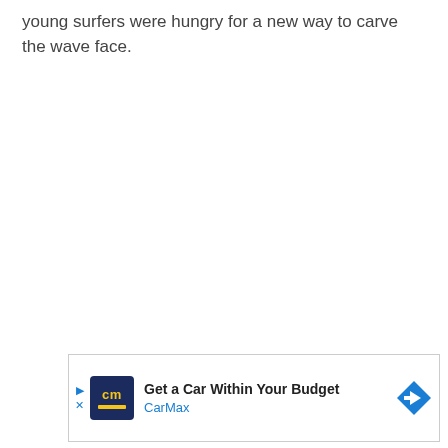young surfers were hungry for a new way to carve the wave face.
[Figure (other): CarMax advertisement banner: Get a Car Within Your Budget — CarMax]